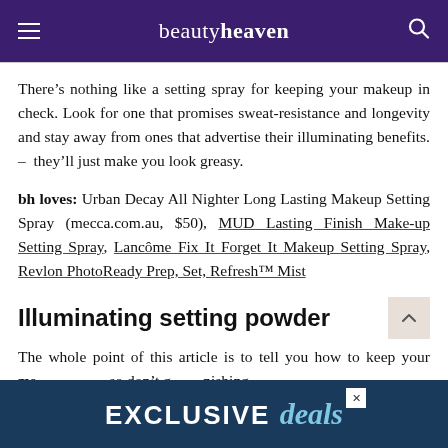beautyheaven
There’s nothing like a setting spray for keeping your makeup in check. Look for one that promises sweat-resistance and longevity and stay away from ones that advertise their illuminating benefits. –  they’ll just make you look greasy.
bh loves: Urban Decay All Nighter Long Lasting Makeup Setting Spray (mecca.com.au, $50), MUD Lasting Finish Make-up Setting Spray, Lancôme Fix It Forget It Makeup Setting Spray, Revlon PhotoReady Prep, Set, Refresh™ Mist
Illuminating setting powder
The whole point of this article is to tell you how to keep your ma… so don’t g… …nishing
[Figure (other): Advertisement banner with dark navy background reading EXCLUSIVE deals in white and light blue italic text, with a close button (X) in the upper right area]